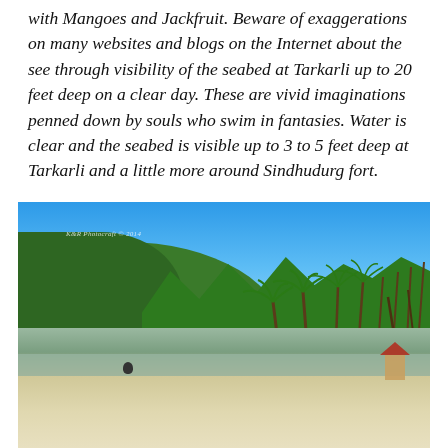with Mangoes and Jackfruit. Beware of exaggerations on many websites and blogs on the Internet about the see through visibility of the seabed at Tarkarli up to 20 feet deep on a clear day. These are vivid imaginations penned down by souls who swim in fantasies. Water is clear and the seabed is visible up to 3 to 5 feet deep at Tarkarli and a little more around Sindhudurg fort.
[Figure (photo): Tropical beach scene with palm trees, green hills covered in lush vegetation, blue sky, water strip, and white sandy beach in the foreground. Watermark reads K&R Photocraft © 2014.]